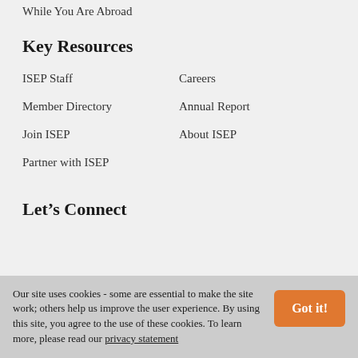While You Are Abroad
Key Resources
ISEP Staff
Careers
Member Directory
Annual Report
Join ISEP
About ISEP
Partner with ISEP
Let’s Connect
Our site uses cookies - some are essential to make the site work; others help us improve the user experience. By using this site, you agree to the use of these cookies. To learn more, please read our privacy statement